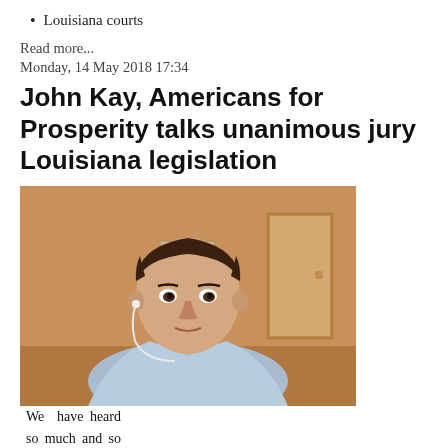Louisiana courts
Read more...
Monday, 14 May 2018 17:34
John Kay, Americans for Prosperity talks unanimous jury Louisiana legislation
[Figure (photo): Video screenshot of a man in a light blue shirt with earbuds, appearing to be on a video call, sitting in a room with a door visible in the background.]
We have heard so much and so often in Louisiana that the legislators on the left cannot get along with those on the right. We read daily that Democrats and Republicans simply are acting as if they were in Washington DC rather than in Baton Rouge, that acrimony is the rule